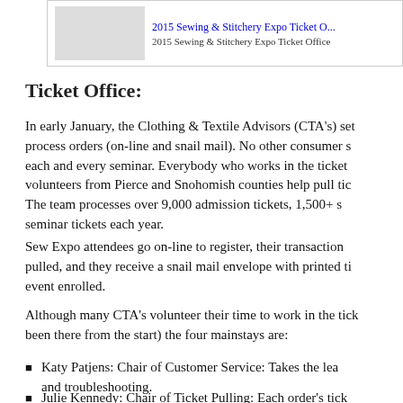2015 Sewing & Stitchery Expo Ticket Office | 2015 Sewing & Stitchery Expo Ticket Office
Ticket Office:
In early January, the Clothing & Textile Advisors (CTA's) set up to process orders (on-line and snail mail). No other consumer s... each and every seminar. Everybody who works in the ticket... volunteers from Pierce and Snohomish counties help pull tic... The team processes over 9,000 admission tickets, 1,500+ s... seminar tickets each year.
Sew Expo attendees go on-line to register, their transaction... pulled, and they receive a snail mail envelope with printed ti... event enrolled.
Although many CTA's volunteer their time to work in the tick... been there from the start) the four mainstays are:
Katy Patjens: Chair of Customer Service: Takes the lead... and troubleshooting.
Julie Kennedy: Chair of Ticket Pulling: Each order's tick...